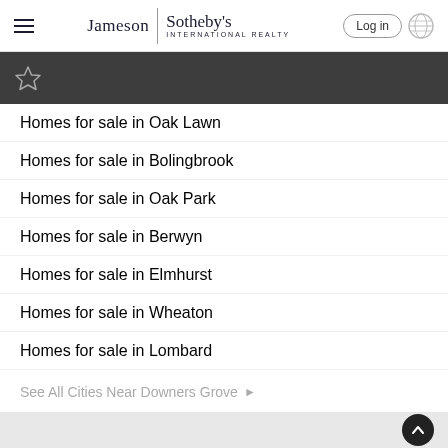Jameson | Sotheby's International Realty — Log in
Homes for sale in Oak Lawn
Homes for sale in Bolingbrook
Homes for sale in Oak Park
Homes for sale in Berwyn
Homes for sale in Elmhurst
Homes for sale in Wheaton
Homes for sale in Lombard
See All Cities Near Downers Grove ▶